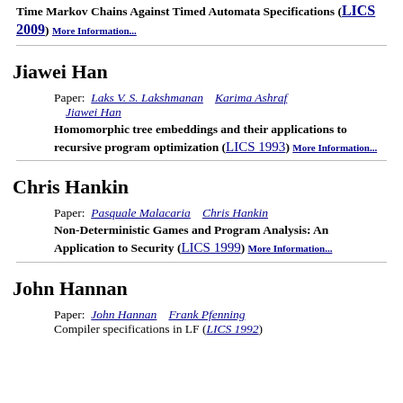Time Markov Chains Against Timed Automata Specifications (LICS 2009) More Information...
Jiawei Han
Paper: Laks V. S. Lakshmanan   Karima Ashraf   Jiawei Han
Homomorphic tree embeddings and their applications to recursive program optimization (LICS 1993) More Information...
Chris Hankin
Paper: Pasquale Malacaria   Chris Hankin
Non-Deterministic Games and Program Analysis: An Application to Security (LICS 1999) More Information...
John Hannan
Paper: John Hannan   Frank Pfenning
Compiler specifications in LF (LICS 1992)